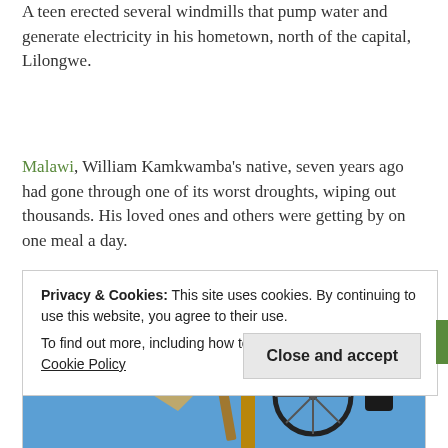A teen erected several windmills that pump water and generate electricity in his hometown, north of the capital, Lilongwe.
Malawi, William Kamkwamba's native, seven years ago had gone through one of its worst droughts, wiping out thousands. His loved ones and others were getting by on one meal a day.
[Figure (photo): A smiling young man holding onto wooden poles of a windmill structure against a clear blue sky, with a bicycle wheel visible in the background.]
Privacy & Cookies: This site uses cookies. By continuing to use this website, you agree to their use.
To find out more, including how to control cookies, see here: Cookie Policy
Close and accept